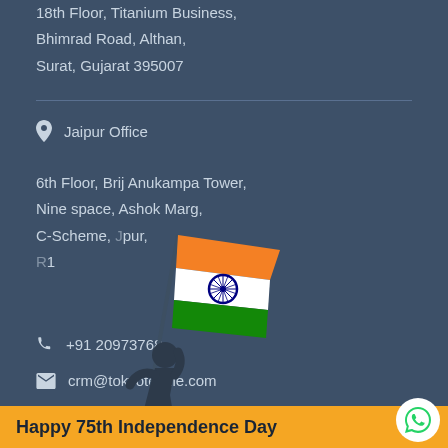18th Floor, Titanium Business, Bhimrad Road, Althan, Surat, Gujarat 395007
Jaipur Office
6th Floor, Brij Anukampa Tower, Nine space, Ashok Marg, C-Scheme, Jaipur, Rajasthan 302001
+91 20973768
crm@tokyotechie.com
[Figure (illustration): Person holding Indian national flag (tricolor: saffron, white, green with Ashoka chakra) illustration]
USA Office
350 Oakmead Pkwy, Unit 300, Sunnyvale
Happy 75th Independence Day